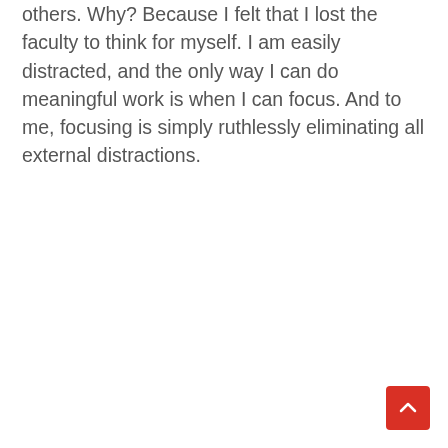others. Why? Because I felt that I lost the faculty to think for myself. I am easily distracted, and the only way I can do meaningful work is when I can focus. And to me, focusing is simply ruthlessly eliminating all external distractions.
[Figure (other): Red rounded-square scroll-to-top button with a white upward-pointing chevron arrow, positioned at bottom-right corner of the page.]